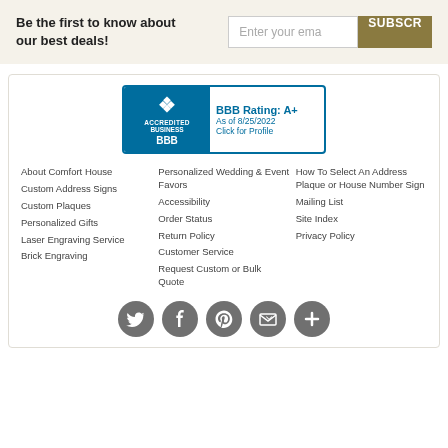Be the first to know about our best deals!
Enter your ema   SUBSCR
[Figure (logo): BBB Accredited Business badge with A+ rating as of 8/25/2022, Click for Profile]
About Comfort House
Custom Address Signs
Custom Plaques
Personalized Gifts
Laser Engraving Service
Brick Engraving
Personalized Wedding & Event Favors
Accessibility
Order Status
Return Policy
Customer Service
Request Custom or Bulk Quote
How To Select An Address Plaque or House Number Sign
Mailing List
Site Index
Privacy Policy
[Figure (illustration): Social media icons: Twitter, Facebook, Pinterest, email/newsletter, and a plus/more icon — all in dark grey circles]